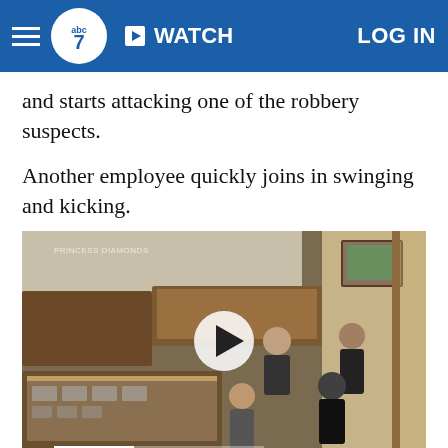ABC7 | WATCH | LOG IN
and starts attacking one of the robbery suspects.
Another employee quickly joins in swinging and kicking.
[Figure (screenshot): Security camera footage (CCTV) of a jewelry store interior showing a smash-and-grab robbery in progress, with people visible near display cases and a door. A video play button overlay is shown in the center.]
EMBED <>   MORE VIDEOS ▶
A smash-and-grab robbery at a jewelry store in